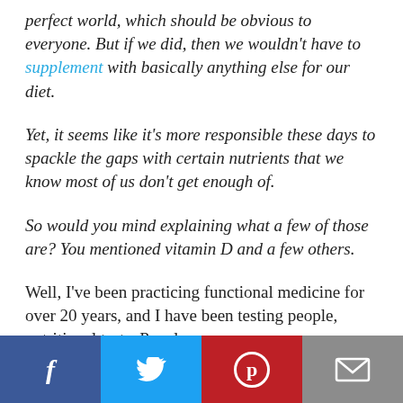perfect world, which should be obvious to everyone. But if we did, then we wouldn't have to supplement with basically anything else for our diet.
Yet, it seems like it's more responsible these days to spackle the gaps with certain nutrients that we know most of us don't get enough of.
So would you mind explaining what a few of those are? You mentioned vitamin D and a few others.
Well, I've been practicing functional medicine for over 20 years, and I have been testing people, nutritional tests. People are
Facebook | Twitter | Pinterest | Email